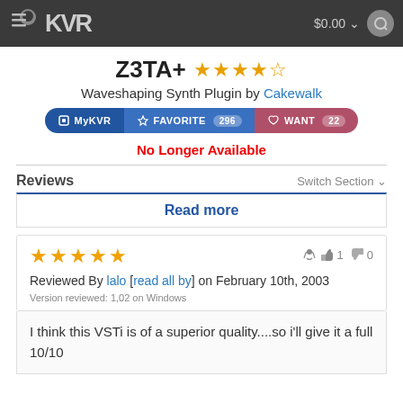KVR Audio — $0.00
Z3TA+ — 4.5 stars — Waveshaping Synth Plugin by Cakewalk
No Longer Available
Reviews
Read more
★★★★★ — Reviewed By lalo [read all by] on February 10th, 2003 — Version reviewed: 1,02 on Windows — Thumbs up: 1, Thumbs down: 0
I think this VSTi is of a superior quality....so i'll give it a full 10/10